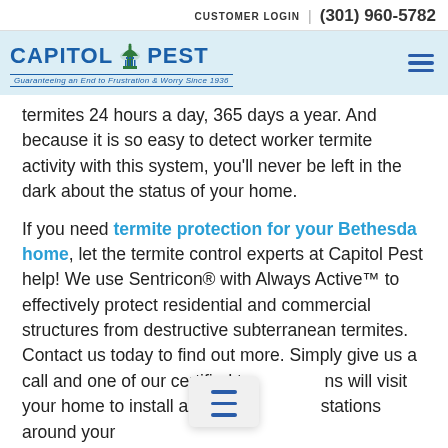CUSTOMER LOGIN | (301) 960-5782
[Figure (logo): Capitol Pest logo with Capitol dome icon and tagline 'Guaranteeing an End to Frustration & Worry Since 1936']
termites 24 hours a day, 365 days a year. And because it is so easy to detect worker termite activity with this system, you'll never be left in the dark about the status of your home.
If you need termite protection for your Bethesda home, let the termite control experts at Capitol Pest help! We use Sentricon® with Always Active™ to effectively protect residential and commercial structures from destructive subterranean termites. Contact us today to find out more. Simply give us a call and one of our certified technicians will visit your home to install a number of stations around your